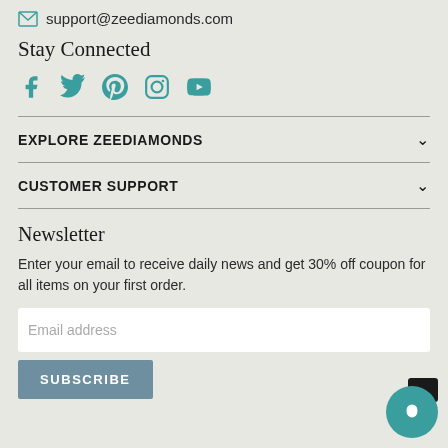support@zeediamonds.com
Stay Connected
[Figure (illustration): Social media icons: Facebook, Twitter, Pinterest, Instagram, YouTube in teal color]
EXPLORE ZEEDIAMONDS
CUSTOMER SUPPORT
Newsletter
Enter your email to receive daily news and get 30% off coupon for all items on your first order.
Email address
SUBSCRIBE